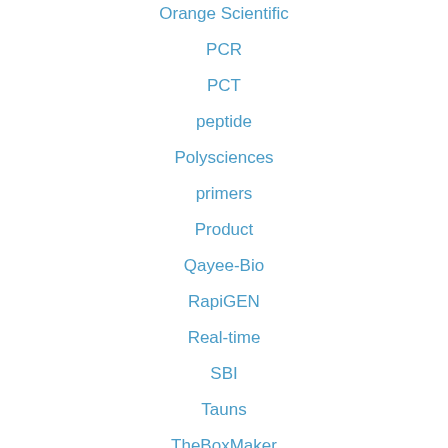Orange Scientific
PCR
PCT
peptide
Polysciences
primers
Product
Qayee-Bio
RapiGEN
Real-time
SBI
Tauns
TheBoxMaker
Viagen
VivaDiag
Zeptometrix